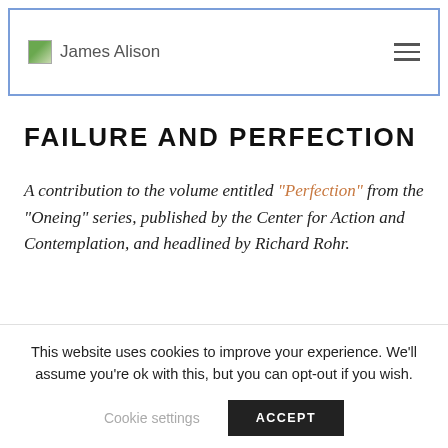James Alison
FAILURE AND PERFECTION
A contribution to the volume entitled “Perfection” from the “Oneing” series, published by the Center for Action and Contemplation, and headlined by Richard Rohr.
As a small child, I had
This website uses cookies to improve your experience. We’ll assume you’re ok with this, but you can opt-out if you wish.